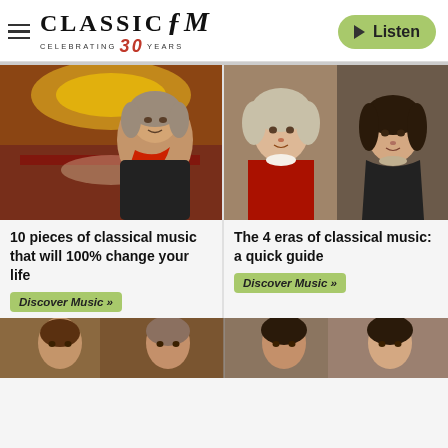Classic FM – Celebrating 30 Years | Listen
[Figure (photo): Composite image of Beethoven overlaid on a grand concert hall interior]
10 pieces of classical music that will 100% change your life
Discover Music »
[Figure (photo): Portraits of Mozart and a female classical composer side by side]
The 4 eras of classical music: a quick guide
Discover Music »
[Figure (photo): Bottom strip showing partial portraits of classical composers]